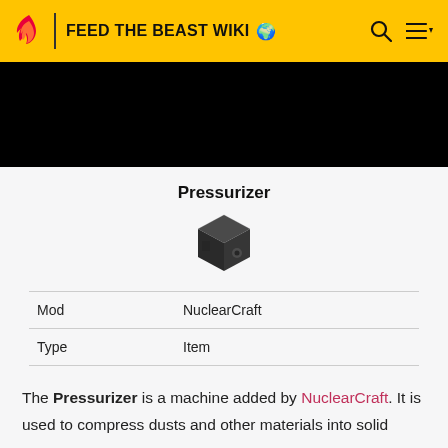FEED THE BEAST WIKI
[Figure (screenshot): Black banner/advertisement area at top of wiki page]
Pressurizer
[Figure (illustration): Pixel-art style dark cube/block game item icon for the Pressurizer]
| Property | Value |
| --- | --- |
| Mod | NuclearCraft |
| Type | Item |
The Pressurizer is a machine added by NuclearCraft. It is used to compress dusts and other materials into solid